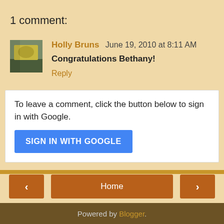1 comment:
Holly Bruns June 19, 2010 at 8:11 AM
Congratulations Bethany!
Reply
To leave a comment, click the button below to sign in with Google.
SIGN IN WITH GOOGLE
Home
View web version
Powered by Blogger.